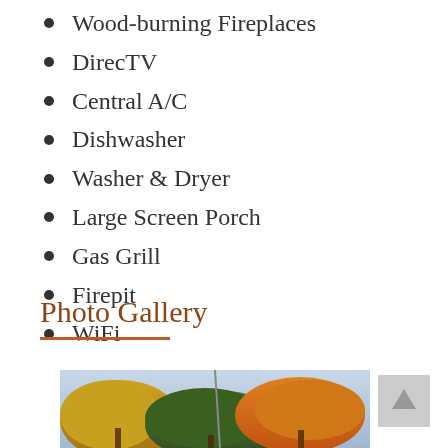Wood-burning Fireplaces
DirecTV
Central A/C
Dishwasher
Washer & Dryer
Large Screen Porch
Gas Grill
Firepit
WiFi
Photo Gallery
[Figure (photo): Outdoor autumn scene with colorful trees in yellow, orange, and red foliage]